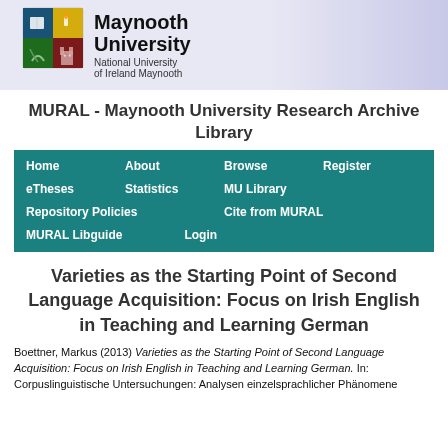[Figure (logo): Maynooth University logo with shield and university name: 'Maynooth University, National University of Ireland Maynooth']
MURAL - Maynooth University Research Archive Library
Home  About  Browse  Register  eTheses  Statistics  MU Library  Repository Policies  Cite from MURAL  MURAL Libguide  Login
Varieties as the Starting Point of Second Language Acquisition: Focus on Irish English in Teaching and Learning German
Boettner, Markus (2013) Varieties as the Starting Point of Second Language Acquisition: Focus on Irish English in Teaching and Learning German. In: Corpuslinguistische Untersuchungen: Analysen einzelsprachlicher Phänomene